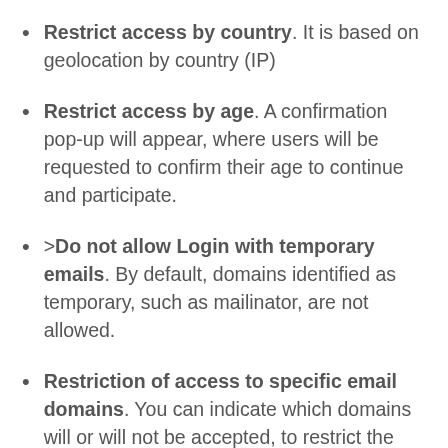Restrict access by country. It is based on geolocation by country (IP)
Restrict access by age. A confirmation pop-up will appear, where users will be requested to confirm their age to continue and participate.
>Do not allow Login with temporary emails. By default, domains identified as temporary, such as mailinator, are not allowed.
Restriction of access to specific email domains. You can indicate which domains will or will not be accepted, to restrict the registration to specific domains or prevent participation with other email domains. For example, you can indicate that only emails